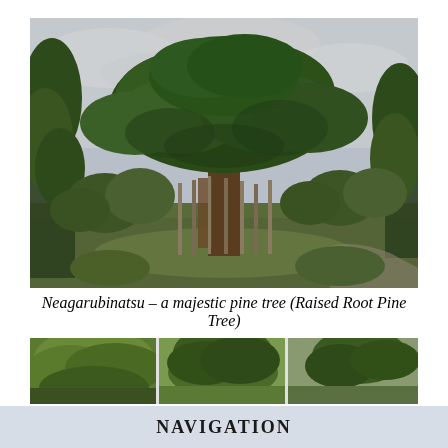[Figure (photo): A large majestic Japanese pine tree (Neagarubinatsu / Raised Root Pine Tree) supported by wooden poles in a Japanese garden, with other trees and shrubs around it under an overcast sky.]
Neagarubinatsu – a majestic pine tree (Raised Root Pine Tree)
[Figure (photo): A horizontal strip showing three sections of a Japanese garden with various trees including green leafy trees and pine trees.]
NAVIGATION